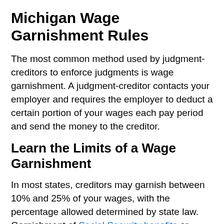Michigan Wage Garnishment Rules
The most common method used by judgment-creditors to enforce judgments is wage garnishment. A judgment-creditor contacts your employer and requires the employer to deduct a certain portion of your wages each pay period and send the money to the creditor.
Learn the Limits of a Wage Garnishment
In most states, creditors may garnish between 10% and 25% of your wages, with the percentage allowed determined by state law. Garnishment of Social Security benefits or pensions for consumer debt is not